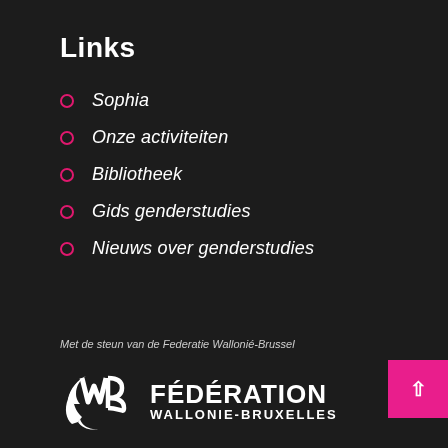Links
Sophia
Onze activiteiten
Bibliotheek
Gids genderstudies
Nieuws over genderstudies
Met de steun van de Federatie Wallonié-Brussel
[Figure (logo): Fédération Wallonie-Bruxelles logo with stylized WB monogram and text FÉDÉRATION WALLONIE-BRUXELLES]